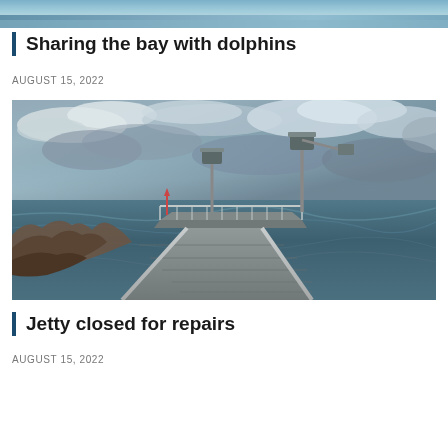[Figure (photo): Partial view of a bay or ocean scene with blue-grey water, cropped at top of page]
Sharing the bay with dolphins
AUGUST 15, 2022
[Figure (photo): A wooden jetty/pier extending into a rough, choppy sea under a dramatic overcast sky with dark storm clouds. Rocky shoreline visible on the left. Solar-powered lights on poles line the jetty. High-contrast HDR style photo.]
Jetty closed for repairs
AUGUST 15, 2022